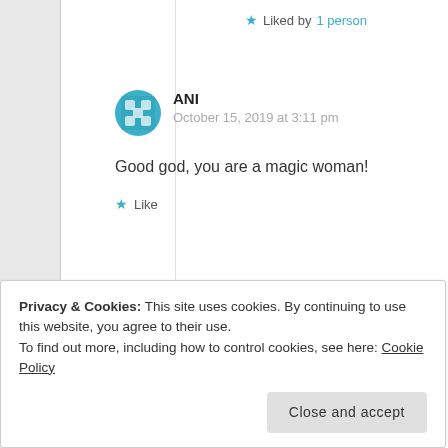★ Liked by 1 person
ANI
October 15, 2019 at 3:11 pm
Good god, you are a magic woman!
★ Like
WRITER MCWRITERSON
Privacy & Cookies: This site uses cookies. By continuing to use this website, you agree to their use.
To find out more, including how to control cookies, see here: Cookie Policy
Close and accept